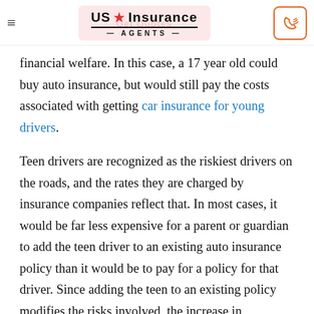US Insurance Agents
financial welfare. In this case, a 17 year old could buy auto insurance, but would still pay the costs associated with getting car insurance for young drivers.
Teen drivers are recognized as the riskiest drivers on the roads, and the rates they are charged by insurance companies reflect that. In most cases, it would be far less expensive for a parent or guardian to add the teen driver to an existing auto insurance policy than it would be to pay for a policy for that driver. Since adding the teen to an existing policy modifies the risks involved, the increase in premiums is relatively low. This is because the insurance company is not insuring the vehicle solely as a teen's car, but as a car which is shared with the teen on a part-time basis. Even so, the original policy premiums could go up by